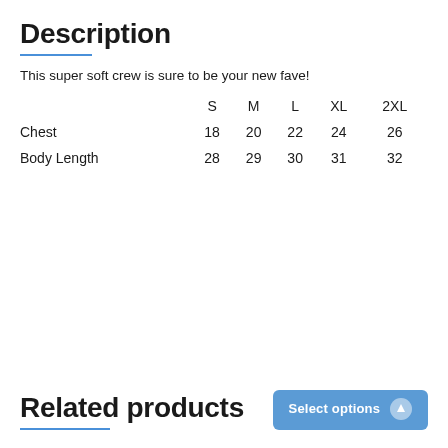Description
This super soft crew is sure to be your new fave!
|  | S | M | L | XL | 2XL |
| --- | --- | --- | --- | --- | --- |
| Chest | 18 | 20 | 22 | 24 | 26 |
| Body Length | 28 | 29 | 30 | 31 | 32 |
Related products